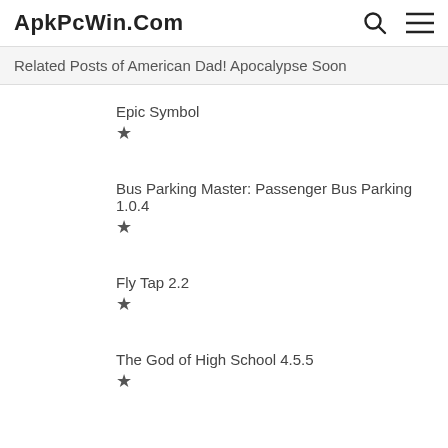ApkPcWin.Com
Related Posts of American Dad! Apocalypse Soon
Epic Symbol ★
Bus Parking Master: Passenger Bus Parking 1.0.4 ★
Fly Tap 2.2 ★
The God of High School 4.5.5 ★